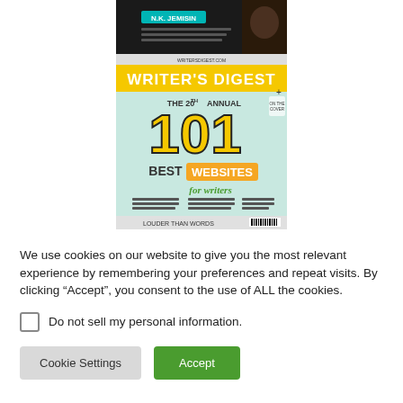[Figure (screenshot): Partial book cover image showing N.K. Jemisin text and a dark portrait photo]
[Figure (screenshot): Writer's Digest magazine cover: The 20th Annual 101 Best Websites for Writers]
We use cookies on our website to give you the most relevant experience by remembering your preferences and repeat visits. By clicking “Accept”, you consent to the use of ALL the cookies.
Do not sell my personal information.
Cookie Settings
Accept